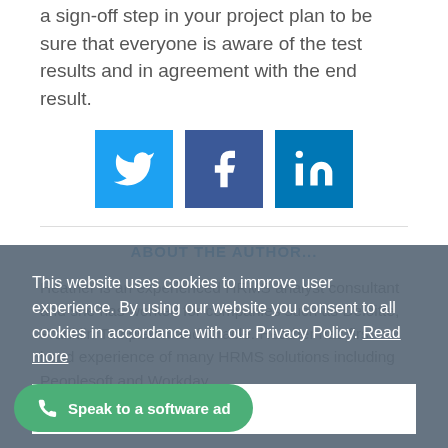a sign-off step in your project plan to be sure that everyone is aware of the test results and in agreement with the end result.
[Figure (infographic): Three social media share buttons: Twitter (blue bird icon), Facebook (dark blue f icon), LinkedIn (dark blue in icon)]
ABOUT THE AUTHOR...
Heather is an experienced HRMS analyst consultant and she has worked for companies such as Deloitte, Franklin Templeton and Oracle. Heather has first-hand experience of many HRMS solutions including Peoplesoft and Workday.
This website uses cookies to improve user experience. By using our website you consent to all cookies in accordance with our Privacy Policy. Read more
Agree
Speak to a software ad